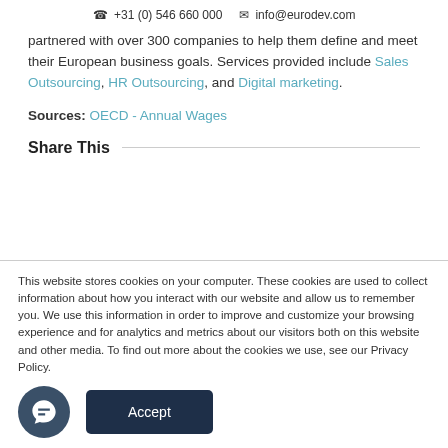☎ +31 (0) 546 660 000   ✉ info@eurodev.com
partnered with over 300 companies to help them define and meet their European business goals. Services provided include Sales Outsourcing, HR Outsourcing, and Digital marketing.
Sources: OECD - Annual Wages
Share This
This website stores cookies on your computer. These cookies are used to collect information about how you interact with our website and allow us to remember you. We use this information in order to improve and customize your browsing experience and for analytics and metrics about our visitors both on this website and other media. To find out more about the cookies we use, see our Privacy Policy.